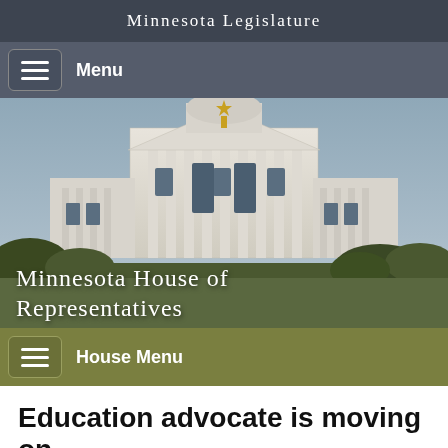Minnesota Legislature
Menu
[Figure (photo): Minnesota State Capitol building dome with gold statue, sky background and trees]
Minnesota House of Representatives
House Menu
Education advocate is moving on
Published (2/3/2012)
By Erin Schmidtke